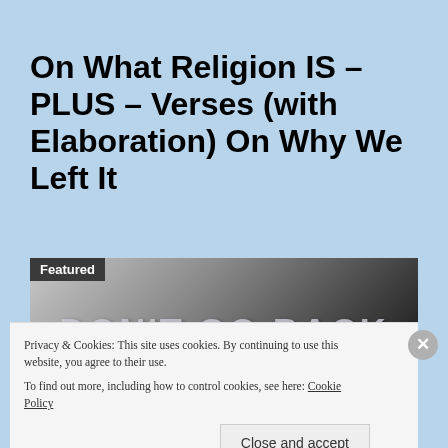On What Religion IS – PLUS – Verses (with Elaboration) On Why We Left It
[Figure (photo): Featured image with dark background showing partial text 'DON'T GO BACK' in metallic/mirror lettering, with a 'Featured' label overlay in dark background]
Privacy & Cookies: This site uses cookies. By continuing to use this website, you agree to their use.
To find out more, including how to control cookies, see here: Cookie Policy
Close and accept